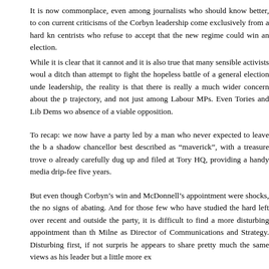It is now commonplace, even among journalists who should know better, to con current criticisms of the Corbyn leadership come exclusively from a hard kn centrists who refuse to accept that the new regime could win an election.
While it is clear that it cannot and it is also true that many sensible activists woul a ditch than attempt to fight the hopeless battle of a general election unde leadership, the reality is that there is really a much wider concern about the p trajectory, and not just among Labour MPs. Even Tories and Lib Dems wo absence of a viable opposition.
To recap: we now have a party led by a man who never expected to leave the b a shadow chancellor best described as "maverick", with a treasure trove o already carefully dug up and filed at Tory HQ, providing a handy media drip-fee five years.
But even though Corbyn's win and McDonnell's appointment were shocks, the no signs of abating. And for those few who have studied the hard left over recent and outside the party, it is difficult to find a more disturbing appointment than th Milne as Director of Communications and Strategy. Disturbing first, if not surpris he appears to share pretty much the same views as his leader but a little more ex
Tom Harris MP is, of course, right to point out the dangerously narrow appeal of viewpoint: that traditional Labour voters, who might have sons and daughte Britain's armed forces, could be massively turned off by the idea that their sac nothing; and all in the name of a monarch whom the leadership might dislike bu same voters are actually rather fond of.
But it is much more than that: the naked anti-West sentiment propagated by s